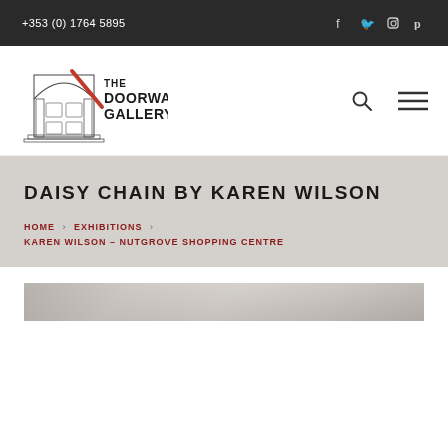+353 (0) 1764 5895
[Figure (logo): The Doorway Gallery logo with illustrated doorway arch and red diagonal accent]
DAISY CHAIN BY KAREN WILSON
HOME › EXHIBITIONS › KAREN WILSON – NUTGROVE SHOPPING CENTRE
[Figure (photo): Partially visible grayscale photograph, possibly an artwork or exhibition image, appearing as a horizontal strip]